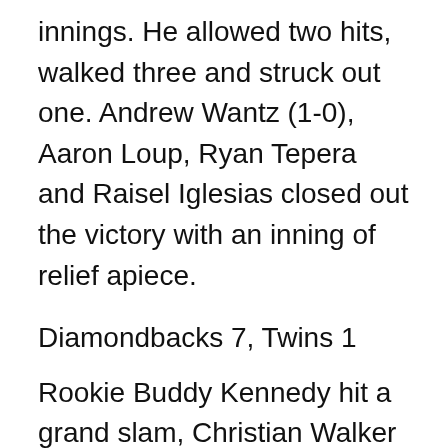his first major league start, pitched 4 2/3 innings. He allowed two hits, walked three and struck out one. Andrew Wantz (1-0), Aaron Loup, Ryan Tepera and Raisel Iglesias closed out the victory with an inning of relief apiece.
Diamondbacks 7, Twins 1
Rookie Buddy Kennedy hit a grand slam, Christian Walker belted two solo home runs and Merrill Kelly won for the third time in his last four decisions in Arizona's win over visiting Minnesota.
Kennedy's grand slam – his first major league home run in three games after he